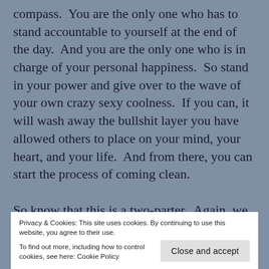compass.  You are the only one who has to stand accountable to yourself at the end of the day.  And you are the only one who is in charge of your personal happiness.  So stand in your power and give over to the wave of your own crazy sexy coolness.  If you can, it will wash away the bullshit layer you have allowed others to place on your mind, your heart, and your life.  And from there, you can start the process of coming clean.

So know that this is a two-parter.  Again, we have another Aquarius full moon next month, so you have a lot to release around one aspect of yourself
Privacy & Cookies: This site uses cookies. By continuing to use this website, you agree to their use.
To find out more, including how to control cookies, see here: Cookie Policy
Close and accept